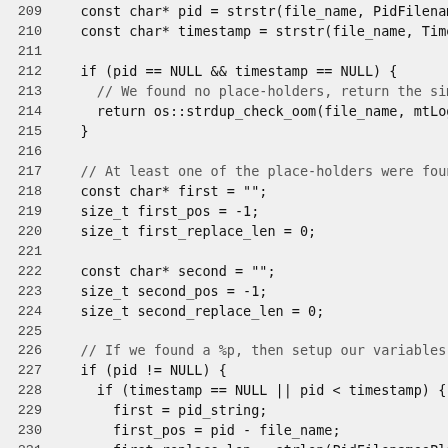Source code listing, lines 209-238, C++ code for filename placeholder replacement logic